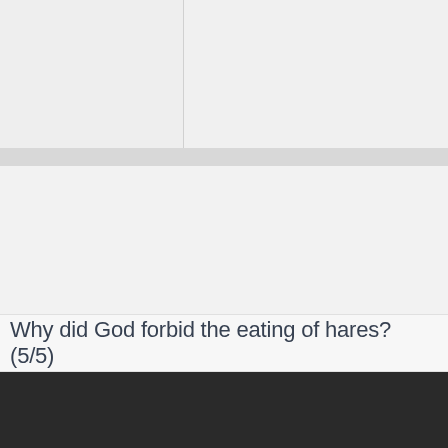[Figure (screenshot): Top section with light gray background split into two panels by a vertical line, followed by a horizontal gray divider bar and a lighter gray middle section]
Why did God forbid the eating of hares? (5/5)
[Figure (screenshot): Dark/black bottom panel, likely a video or image area]